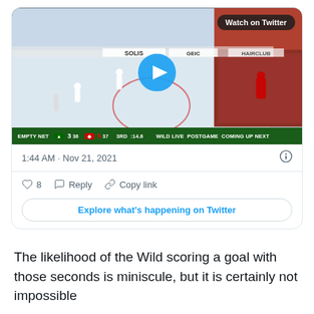[Figure (screenshot): Twitter embedded tweet card showing a hockey game video thumbnail with scoreboard showing Wild 3 vs opponent 5, 3RD :14.6. Card includes timestamp 1:44 AM · Nov 21, 2021, like count of 8, Reply, Copy link actions, and 'Explore what's happening on Twitter' button.]
The likelihood of the Wild scoring a goal with those seconds is miniscule, but it is certainly not impossible